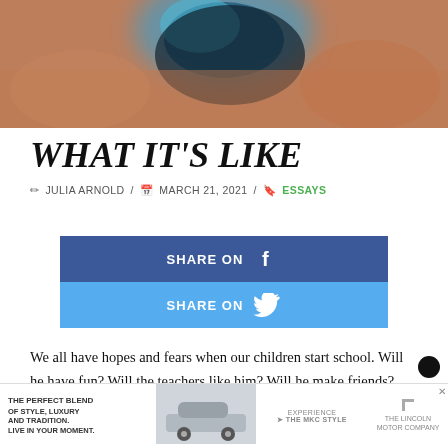[Figure (photo): Close-up blurred photo of a face with blue/teal eye shadow, skin tones visible]
WHAT IT'S LIKE
✏ JULIA ARNOLD / 📅 MARCH 21, 2021 / 🔖 ESSAYS
[Figure (infographic): Two social share buttons: SHARE ON Facebook (dark blue) and SHARE ON Twitter (light blue)]
We all have hopes and fears when our children start school. Will he have fun? Will the teachers like him? Will he make friends? My biggest fear when my son started preschool was the separation anxiety I was sure he would suffer. I pictured tearful goodbyes, countless tight hugs, and repeated assurances that I would be back soon. However, the reality of Motherhood—that friendl... separa...ed
[Figure (screenshot): Advertisement banner: The Lincoln Motor Company - The Perfect Blend of Style, Luxury and Tradition. Live In Your Moment. Experience The MKC Style.]